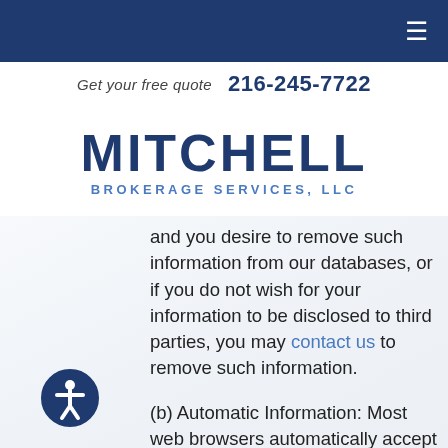Get your free quote  216-245-7722
[Figure (logo): Mitchell Brokerage Services, LLC logo in dark navy blue]
and you desire to remove such information from our databases, or if you do not wish for your information to be disclosed to third parties, you may contact us to remove such information.
(b) Automatic Information: Most web browsers automatically accept Cookies, but if you prefer, you can edit your browser options to block Cookies in the future. The "Help" portion of the toolbar on most browsers will explain how